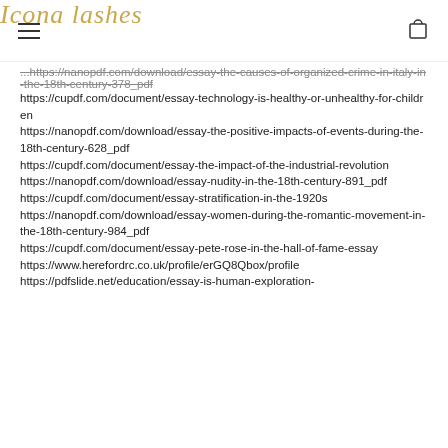Icona lashes
https://nanopdf.com/download/essay-the-causes-of-organized-crime-in-italy-in-the-18th-century-378_pdf https://cupdf.com/document/essay-technology-is-healthy-or-unhealthy-for-children https://nanopdf.com/download/essay-the-positive-impacts-of-events-during-the-18th-century-628_pdf https://cupdf.com/document/essay-the-impact-of-the-industrial-revolution https://nanopdf.com/download/essay-nudity-in-the-18th-century-891_pdf https://cupdf.com/document/essay-stratification-in-the-1920s https://nanopdf.com/download/essay-women-during-the-romantic-movement-in-the-18th-century-984_pdf https://cupdf.com/document/essay-pete-rose-in-the-hall-of-fame-essay https://www.herefordrc.co.uk/profile/erGQ8Qbox/profile https://pdfslide.net/education/essay-is-human-exploration-